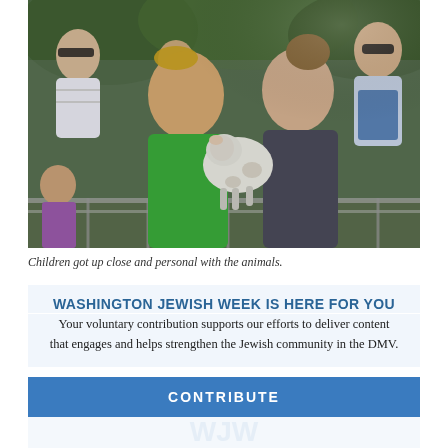[Figure (photo): Children handling a baby lamb at what appears to be an outdoor petting zoo or farm event. A boy in a green shirt wearing a kippah holds a small white lamb, while a girl in a dark shirt looks on. Adults and other children visible in the background behind metal railings, with green trees in the background.]
Children got up close and personal with the animals.
WASHINGTON JEWISH WEEK IS HERE FOR YOU
Your voluntary contribution supports our efforts to deliver content that engages and helps strengthen the Jewish community in the DMV.
CONTRIBUTE